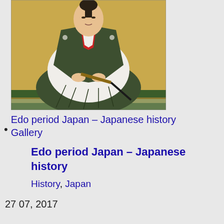[Figure (photo): Historical Japanese painting of a seated samurai in traditional dark hakama and white kimono with red collar, holding a sword, in a golden background]
Edo period Japan – Japanese history Gallery
Edo period Japan – Japanese history
History, Japan
27 07, 2017
Edo period Japan – Japanese history
By Karen Carr|2019-10-10T20:41:11-07:00July 27th,